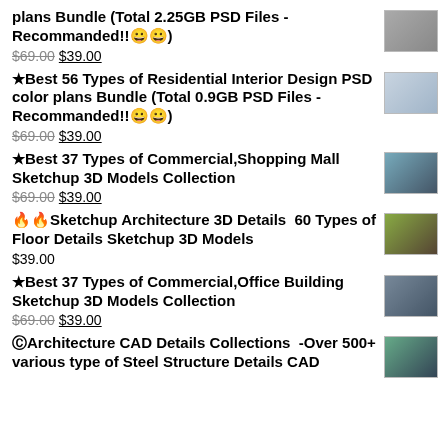plans Bundle (Total 2.25GB PSD Files - Recommanded!!😀😀) $69.00 $39.00
★Best 56 Types of Residential Interior Design PSD color plans Bundle (Total 0.9GB PSD Files - Recommanded!!😀😀) $69.00 $39.00
★Best 37 Types of Commercial,Shopping Mall Sketchup 3D Models Collection $69.00 $39.00
🔥🔥Sketchup Architecture 3D Details  60 Types of Floor Details Sketchup 3D Models $39.00
★Best 37 Types of Commercial,Office Building Sketchup 3D Models Collection $69.00 $39.00
ⒸArchitecture CAD Details Collections  -Over 500+ various type of Steel Structure Details CAD